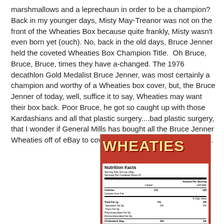marshmallows and a leprechaun in order to be a champion? Back in my younger days, Misty May-Treanor was not on the front of the Wheaties Box because quite frankly, Misty wasn't even born yet (ouch). No, back in the old days, Bruce Jenner held the coveted Wheaties Box Champion Title.  Oh Bruce, Bruce, Bruce, times they have a-changed. The 1976 decathlon Gold Medalist Bruce Jenner, was most certainly a champion and worthy of a Wheaties box cover, but, the Bruce Jenner of today, well, suffice it to say, Wheaties may want their box back. Poor Bruce, he got so caught up with those Kardashians and all that plastic surgery....bad plastic surgery, that I wonder if General Mills has bought all the Bruce Jenner Wheaties off of eBay to cover their champion idolizing tracks.
[Figure (photo): Wheaties cereal box showing the red box with WHEATIES logo and Nutrition Facts panel visible on the side]